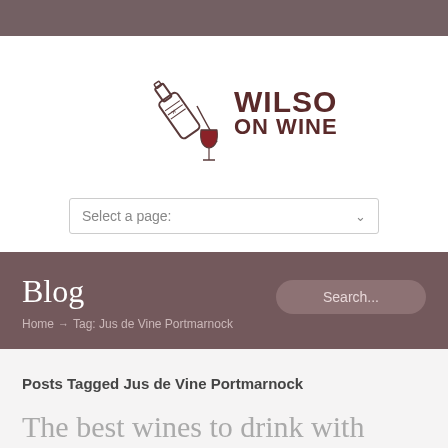[Figure (logo): Wilson on Wine logo: a wine bottle pouring into a glass, with the text WILSON ON WINE in dark red]
Select a page:
Blog
Home → Tag: Jus de Vine Portmarnock
Posts Tagged Jus de Vine Portmarnock
The best wines to drink with salads